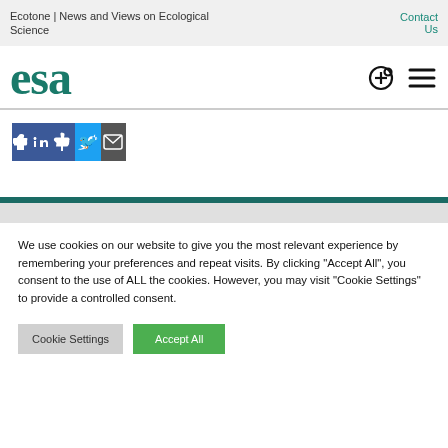Ecotone | News and Views on Ecological Science  Contact Us
[Figure (logo): ESA logo in teal green serif font]
[Figure (infographic): Social share buttons: Facebook like, Twitter, Email]
We use cookies on our website to give you the most relevant experience by remembering your preferences and repeat visits. By clicking "Accept All", you consent to the use of ALL the cookies. However, you may visit "Cookie Settings" to provide a controlled consent.
Cookie Settings  Accept All